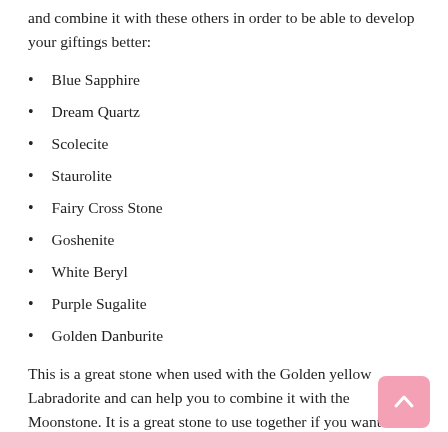and combine it with these others in order to be able to develop your giftings better:
Blue Sapphire
Dream Quartz
Scolecite
Staurolite
Fairy Cross Stone
Goshenite
White Beryl
Purple Sugalite
Golden Danburite
This is a great stone when used with the Golden yellow Labradorite and can help you to combine it with the Moonstone. It is a great stone to use together if you want to align your male and female energies and to have balance.
You can also use the Sunstone and help to balance this energy and have